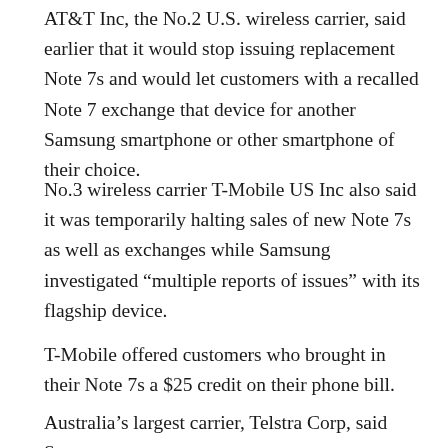AT&T Inc, the No.2 U.S. wireless carrier, said earlier that it would stop issuing replacement Note 7s and would let customers with a recalled Note 7 exchange that device for another Samsung smartphone or other smartphone of their choice.
No.3 wireless carrier T-Mobile US Inc also said it was temporarily halting sales of new Note 7s as well as exchanges while Samsung investigated “multiple reports of issues” with its flagship device.
T-Mobile offered customers who brought in their Note 7s a $25 credit on their phone bill.
Australia’s largest carrier, Telstra Corp, said Samsung